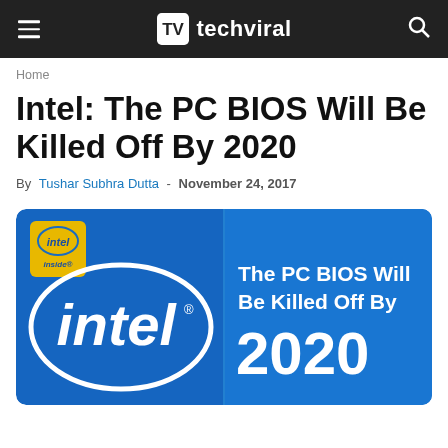techviral
Home
Intel: The PC BIOS Will Be Killed Off By 2020
By Tushar Subhra Dutta - November 24, 2017
[Figure (illustration): Blue promotional image with Intel logo on the left side and text 'The PC BIOS Will Be Killed Off By 2020' on the right side on a blue background]